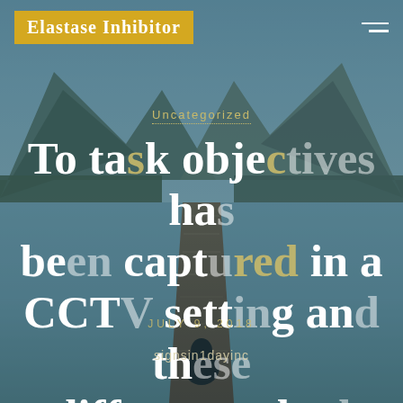[Figure (photo): Background photo of a person sitting on a wooden dock/pier extending into a calm mountain lake, surrounded by forested mountains and reflections in the water. Blue-teal toned landscape.]
Elastase Inhibitor
Uncategorized
To task objectives has been captured in a CCTV setting and these differences had been
JULY 9, 2018
signsin1dayinc